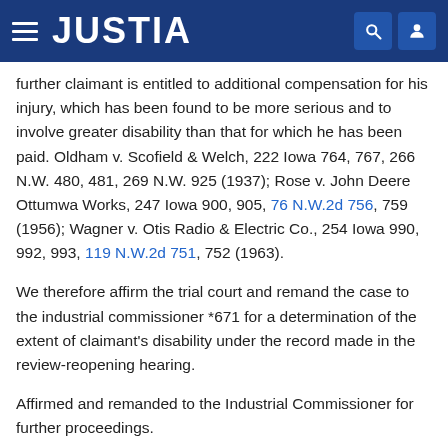JUSTIA
further claimant is entitled to additional compensation for his injury, which has been found to be more serious and to involve greater disability than that for which he has been paid. Oldham v. Scofield & Welch, 222 Iowa 764, 767, 266 N.W. 480, 481, 269 N.W. 925 (1937); Rose v. John Deere Ottumwa Works, 247 Iowa 900, 905, 76 N.W.2d 756, 759 (1956); Wagner v. Otis Radio & Electric Co., 254 Iowa 990, 992, 993, 119 N.W.2d 751, 752 (1963).
We therefore affirm the trial court and remand the case to the industrial commissioner *671 for a determination of the extent of claimant's disability under the record made in the review-reopening hearing.
Affirmed and remanded to the Industrial Commissioner for further proceedings.
All Justices concur.